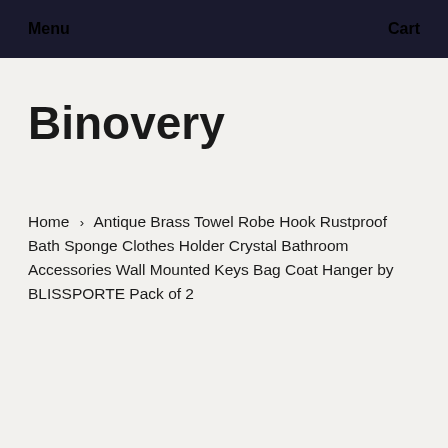Menu  Cart
Binovery
Home › Antique Brass Towel Robe Hook Rustproof Bath Sponge Clothes Holder Crystal Bathroom Accessories Wall Mounted Keys Bag Coat Hanger by BLISSPORTE Pack of 2